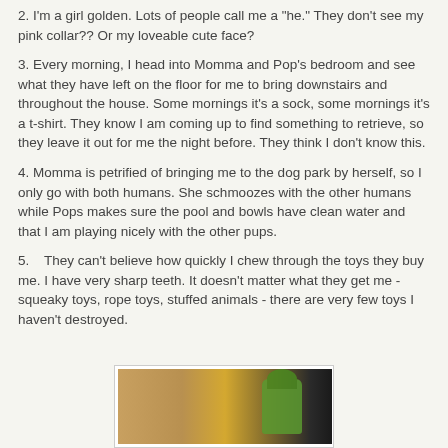2.  I'm a girl golden.  Lots of people call me a "he."  They don't see my pink collar??  Or my loveable cute face?
3.  Every morning, I head into Momma and Pop's bedroom and see what they have left on the floor for me to bring downstairs and throughout the house.  Some mornings it's a sock, some mornings it's a t-shirt.  They know I am coming up to find something to retrieve, so they leave it out for me the night before.  They think I don't know this.
4.  Momma is petrified of bringing me to the dog park by herself, so I only go with both humans.  She schmoozes with the other humans while Pops makes sure the pool and bowls have clean water and that I am playing nicely with the other pups.
5.    They can't believe how quickly I chew through the toys they buy me.  I have very sharp teeth.  It doesn't matter what they get me - squeaky toys, rope toys, stuffed animals - there are very few toys I haven't destroyed.
[Figure (photo): A photo of chewed/destroyed dog toys on a wooden floor surface, with a green toy visible on the right side against a dark background.]